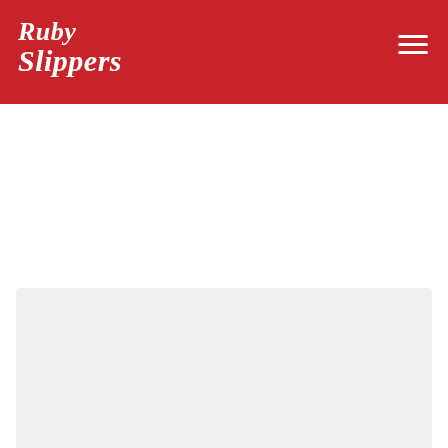Ruby Slippers
[Figure (other): Light gray placeholder content box at the bottom of the page]